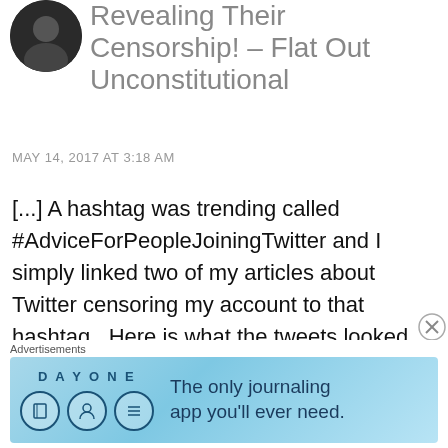[Figure (photo): Circular avatar photo of a person, dark background, top-left corner]
Revealing Their Censorship! – Flat Out Unconstitutional
MAY 14, 2017 AT 3:18 AM
[...] A hashtag was trending called #AdviceForPeopleJoiningTwitter and I simply linked two of my articles about Twitter censoring my account to that hashtag.  Here is what the tweets looked like and a link to the articles, Shadowbanned into Submission and Twitter…
Advertisements
[Figure (screenshot): Day One journaling app advertisement banner with blue background, showing app icons and tagline 'The only journaling app you'll ever need.']